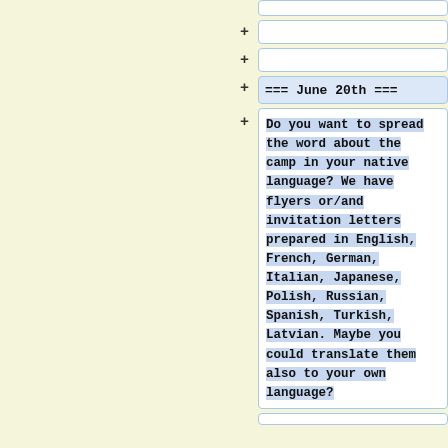(empty diff row 1)
(empty diff row 2)
=== June 20th ===
Do you want to spread the word about the camp in your native language? We have flyers or/and invitation letters prepared in English, French, German, Italian, Japanese, Polish, Russian, Spanish, Turkish, Latvian. Maybe you could translate them also to your own language?